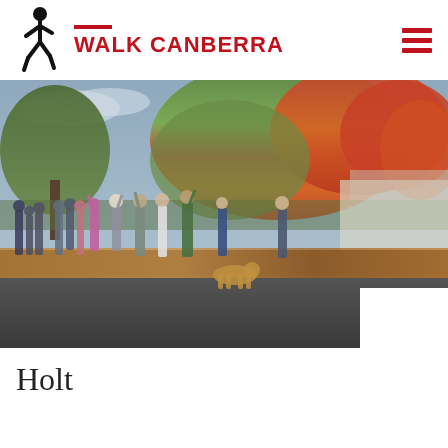WALK CANBERRA
[Figure (photo): A group of people walking along a suburban street lined with autumn-coloured trees in red, orange, and yellow. Several walkers are waving at the camera. A dog is visible in the foreground. A road and fallen autumn leaves are visible.]
Holt